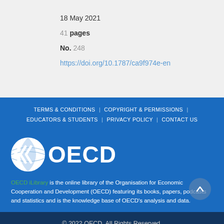18 May 2021
41 pages
No. 248
https://doi.org/10.1787/ca9f974e-en
TERMS & CONDITIONS | COPYRIGHT & PERMISSIONS | EDUCATORS & STUDENTS | PRIVACY POLICY | CONTACT US
[Figure (logo): OECD globe and text logo in white on blue background]
OECD iLibrary is the online library of the Organisation for Economic Cooperation and Development (OECD) featuring its books, papers, podcasts and statistics and is the knowledge base of OECD's analysis and data.
© 2022 OECD. All Rights Reserved.